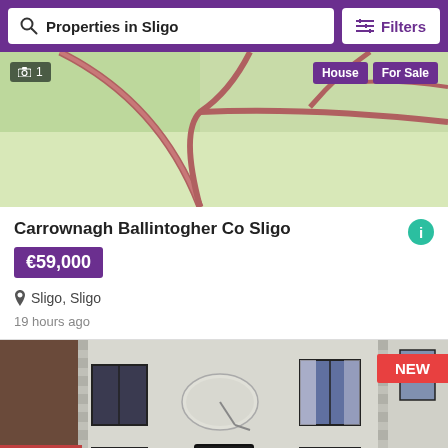Properties in Sligo | Filters
[Figure (map): Map view showing roads in Sligo area with green terrain, overlaid with photo count badge '1' and tags 'House' and 'For Sale']
Carrownagh Ballintogher Co Sligo
€59,000
Sligo, Sligo
19 hours ago
[Figure (photo): Street-level photo of a white terraced house with black window frames, satellite dish, and a 'NEW' badge in the top right corner]
Save